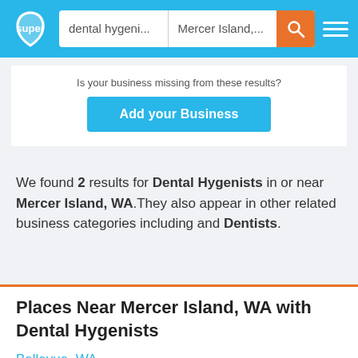[Figure (screenshot): Top navigation bar with Super logo, search fields for 'dental hygeni...' and 'Mercer Island,...', orange search button, and hamburger menu on blue background]
Is your business missing from these results?
Add your Business
We found 2 results for Dental Hygenists in or near Mercer Island, WA.They also appear in other related business categories including and Dentists.
Places Near Mercer Island, WA with Dental Hygenists
Bellevue, WA
Medina, WA
Seattle, WA